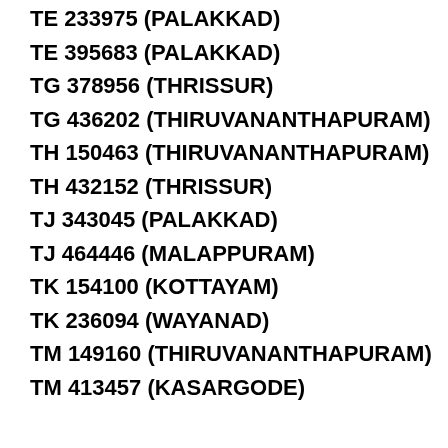TE 233975 (PALAKKAD)
TE 395683 (PALAKKAD)
TG 378956 (THRISSUR)
TG 436202 (THIRUVANANTHAPURAM)
TH 150463 (THIRUVANANTHAPURAM)
TH 432152 (THRISSUR)
TJ 343045 (PALAKKAD)
TJ 464446 (MALAPPURAM)
TK 154100 (KOTTAYAM)
TK 236094 (WAYANAD)
TM 149160 (THIRUVANANTHAPURAM)
TM 413457 (KASARGODE)